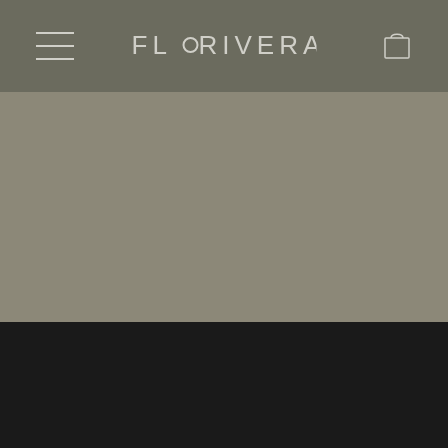FLORIVERA navigation bar with hamburger menu and cart icon
[Figure (screenshot): Large hero image area with taupe/khaki background color, no visible content]
[Figure (screenshot): Dark near-black section at the bottom of the page]